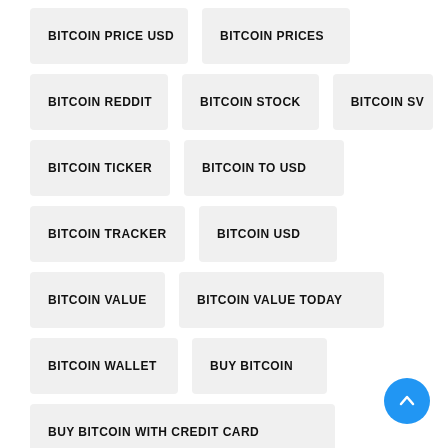BITCOIN PRICE USD
BITCOIN PRICES
BITCOIN REDDIT
BITCOIN STOCK
BITCOIN SV
BITCOIN TICKER
BITCOIN TO USD
BITCOIN TRACKER
BITCOIN USD
BITCOIN VALUE
BITCOIN VALUE TODAY
BITCOIN WALLET
BUY BITCOIN
BUY BITCOIN WITH CREDIT CARD
BUY BITCOIN WITH PAYPAL
CURRENT BITCOIN PRICE